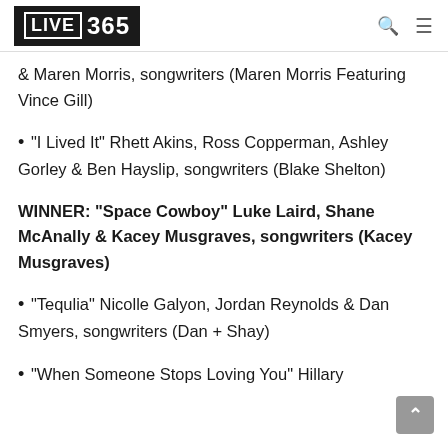LIVE 365
& Maren Morris, songwriters (Maren Morris Featuring Vince Gill)
"I Lived It" Rhett Akins, Ross Copperman, Ashley Gorley & Ben Hayslip, songwriters (Blake Shelton)
WINNER: "Space Cowboy" Luke Laird, Shane McAnally & Kacey Musgraves, songwriters (Kacey Musgraves)
"Tequlia" Nicolle Galyon, Jordan Reynolds & Dan Smyers, songwriters (Dan + Shay)
"When Someone Stops Loving You" Hillary